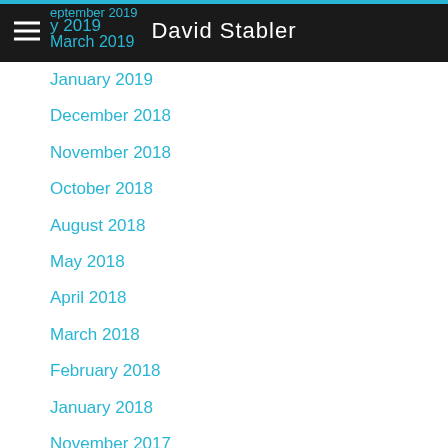David Stabler
March 2019
January 2019
December 2018
November 2018
October 2018
August 2018
May 2018
April 2018
March 2018
February 2018
January 2018
November 2017
October 2017
May 2017
April 2017
March 2017
February 2017